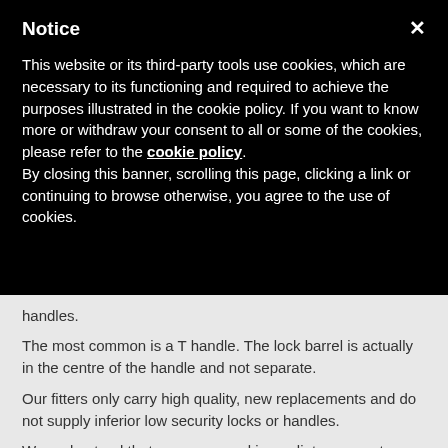Notice
This website or its third-party tools use cookies, which are necessary to its functioning and required to achieve the purposes illustrated in the cookie policy. If you want to know more or withdraw your consent to all or some of the cookies, please refer to the cookie policy. By closing this banner, scrolling this page, clicking a link or continuing to browse otherwise, you agree to the use of cookies.
handles.
The most common is a T handle. The lock barrel is actually in the centre of the handle and not separate.
Our fitters only carry high quality, new replacements and do not supply inferior low security locks or handles.
We understand that you may need immediate access to your vehicle or items in your garage and always give a same day priority, 7 days a week for all lock outs.